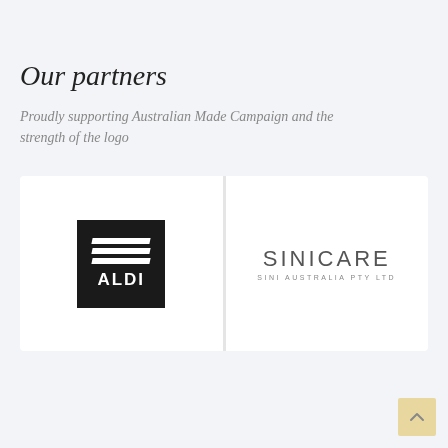Our partners
Proudly supporting Australian Made Campaign and the strength of the logo
[Figure (logo): ALDI logo — black square with white diagonal stripes and bold white ALDI text]
[Figure (logo): SINICARE logo — sans-serif text with SINICARE in large letters and SINI AUSTRALIA PTY LTD in small letters below]